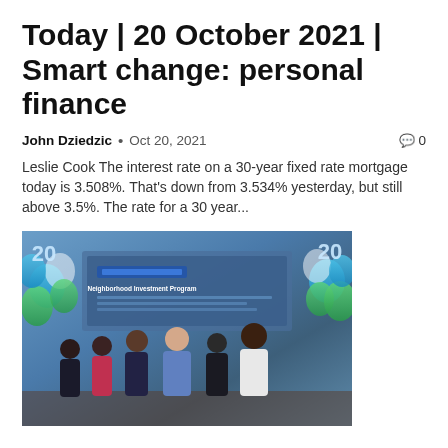Today | 20 October 2021 | Smart change: personal finance
John Dziedzic  •  Oct 20, 2021   0
Leslie Cook The interest rate on a 30-year fixed rate mortgage today is 3.508%. That's down from 3.534% yesterday, but still above 3.5%. The rate for a 30 year...
[Figure (photo): Group photo of six people standing in front of a Neighborhood Investment Program banner with blue and green balloon decorations and a '20' balloon]
Fifth Third Neighborhood Investment Program to Support the Transformation of the Am...